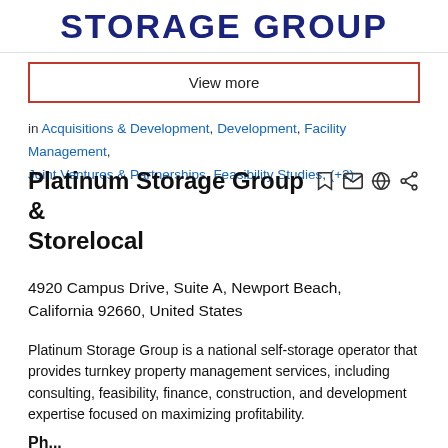STORAGE GROUP
View more
in Acquisitions & Development, Development, Facility Management, Joint Ventures & Partnerships, Feasibility Studies, (+2)
Platinum Storage Group & Storelocal
4920 Campus Drive, Suite A, Newport Beach, California 92660, United States
Platinum Storage Group is a national self-storage operator that provides turnkey property management services, including consulting, feasibility, finance, construction, and development expertise focused on maximizing profitability.
Ph...